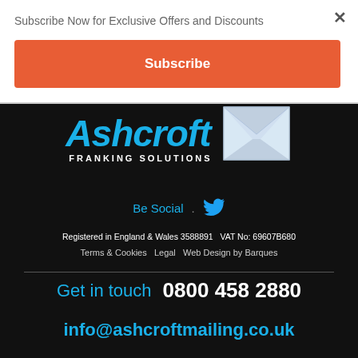Subscribe Now for Exclusive Offers and Discounts
×
Subscribe
[Figure (logo): Ashcroft Franking Solutions logo with blue italic text and envelope icon]
Be Social .
Registered in England & Wales 3588891   VAT No: 69607B680
Terms & Cookies   Legal   Web Design by Barques
Get in touch   0800 458 2880
info@ashcroftmailing.co.uk